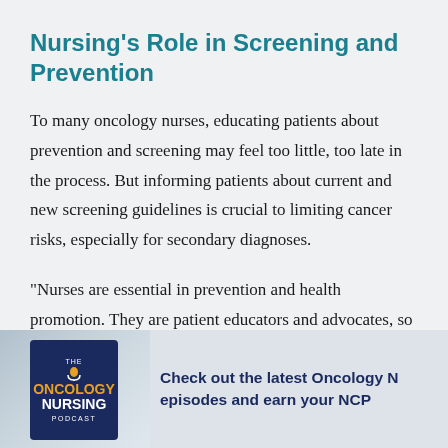Nursing’s Role in Screening and Prevention
To many oncology nurses, educating patients about prevention and screening may feel too little, too late in the process. But informing patients about current and new screening guidelines is crucial to limiting cancer risks, especially for secondary diagnoses.
“Nurses are essential in prevention and health promotion. They are patient educators and advocates, so it’s a critically important role to make sure patients
[Figure (other): Bottom banner showing a hand holding a smartphone displaying the Oncology Nursing Podcast logo (dark navy card with orange and white text), alongside promotional text: 'Check out the latest Oncology N... episodes and earn your NCP...']